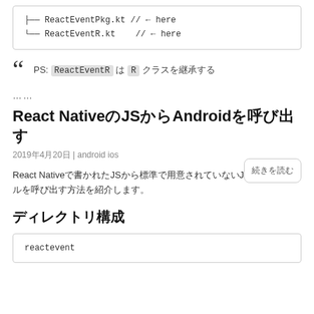├── ReactEventPkg.kt // ← here
└── ReactEventR.kt    // ← here
PS: ReactEventR は R クラスを継承する
……
続きを読む
React NativeのJSからAndroidを呼び出す
2019年4月20日 | android ios
React Nativeで書かれたJSから標準で用意されていないJSのモジュールを呼び出す方法を紹介します。
ディレクトリ構成
reactevent